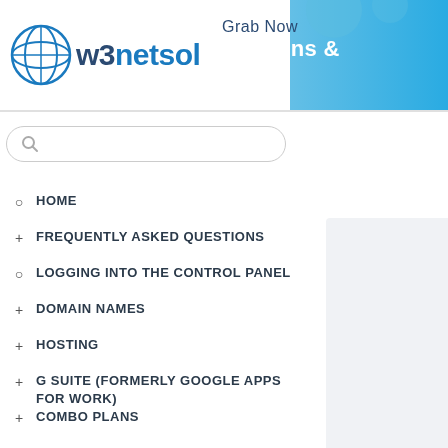[Figure (logo): w3netsol logo with globe icon]
Grab Now
Domains &
Search bar
HOME
FREQUENTLY ASKED QUESTIONS
LOGGING INTO THE CONTROL PANEL
DOMAIN NAMES
HOSTING
G SUITE (FORMERLY GOOGLE APPS FOR WORK)
COMBO PLANS
ORDER MANAGEMENT
DNS